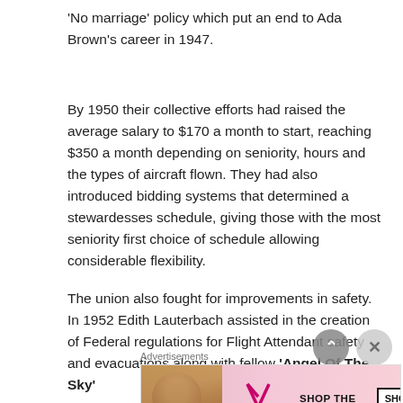'No marriage' policy which put an end to Ada Brown's career in 1947.
By 1950 their collective efforts had raised the average salary to $170 a month to start, reaching $350 a month depending on seniority, hours and the types of aircraft flown. They had also introduced bidding systems that determined a stewardesses schedule, giving those with the most seniority first choice of schedule allowing considerable flexibility.
The union also fought for improvements in safety. In 1952 Edith Lauterbach assisted in the creation of Federal regulations for Flight Attendant safety and evacuations along with fellow 'Angel Of The Sky'
[Figure (screenshot): Victoria's Secret advertisement banner with pink background, model photo on left, VS logo in center, and 'SHOP THE COLLECTION' text with 'SHOP NOW' button on right.]